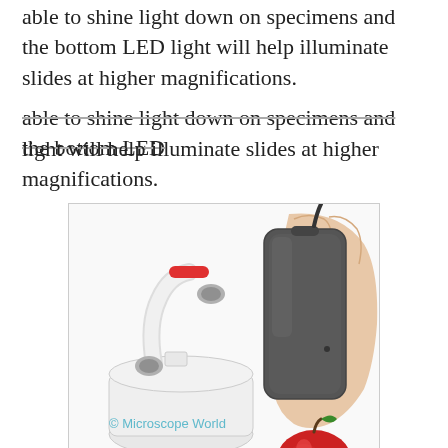able to shine light down on specimens and the bottom LED light will help illuminate slides at higher magnifications.
[Figure (photo): Photo of the Kena digital microscope handheld unit being held in a hand, with the white stand/base accessory lying next to it, and a red apple in the foreground. The image has a '© Microscope World' watermark in teal.]
The Kena can be removed from the stand for handheld macro image capturing. Simply capture images by pressing the button on top of the camera. This feature makes field work easy. The Kena digital microscope runs on the power from the USB cable and 4 AA batteries operate the bottom LED light.
The Kena microscope won the 2009 IDEA Design Award for